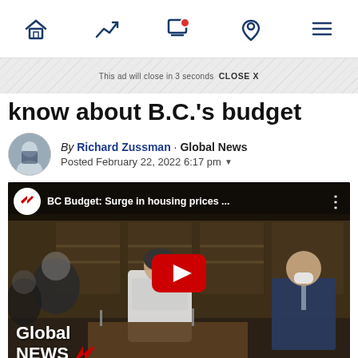Global News navigation bar with home, trending, live, location, and menu icons
This ad will close in 3 seconds  CLOSE X
know about B.C.'s budget
By Richard Zussman · Global News
Posted February 22, 2022 6:17 pm
[Figure (screenshot): YouTube video thumbnail showing BC Budget: Surge in housing prices ... with Global News branding and a YouTube play button. People in masks visible in background including a woman at a podium. Global News logo watermark at bottom left.]